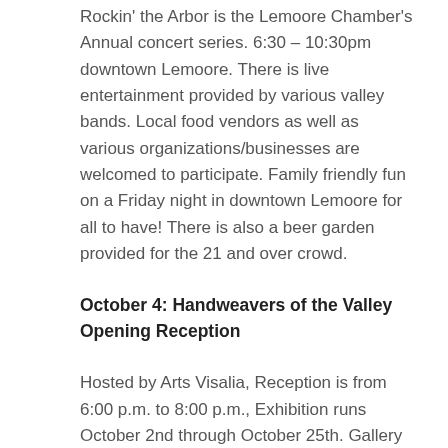Rockin' the Arbor is the Lemoore Chamber's Annual concert series. 6:30 – 10:30pm downtown Lemoore. There is live entertainment provided by various valley bands. Local food vendors as well as various organizations/businesses are welcomed to participate. Family friendly fun on a Friday night in downtown Lemoore for all to have! There is also a beer garden provided for the 21 and over crowd.
October 4: Handweavers of the Valley Opening Reception
Hosted by Arts Visalia, Reception is from 6:00 p.m. to 8:00 p.m., Exhibition runs October 2nd through October 25th. Gallery Hours: Noon-5:30 p.m., Wednesdays-Saturdays. Arts Visalia Visual Art Center 214 E. Oak Ave., Contact Janelle Howard – Gallery Director
October 4 – 20: “The Servant of Two